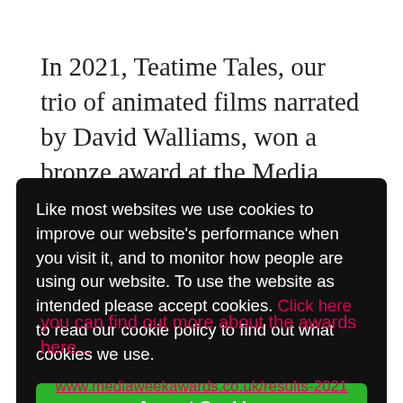In 2021, Teatime Tales, our trio of animated films narrated by David Walliams, won a bronze award at the Media Week awards. Thanks to McCain, Sky and A1&Craft for the work and to the films and ...ddie ...o ...into ...aising
Like most websites we use cookies to improve our website's performance when you visit it, and to monitor how people are using our website. To use the website as intended please accept cookies. Click here to read our cookie policy to find out what cookies we use.
Accept Cookies
you can find out more about the awards here...
www.mediaweekawards.co.uk/results-2021